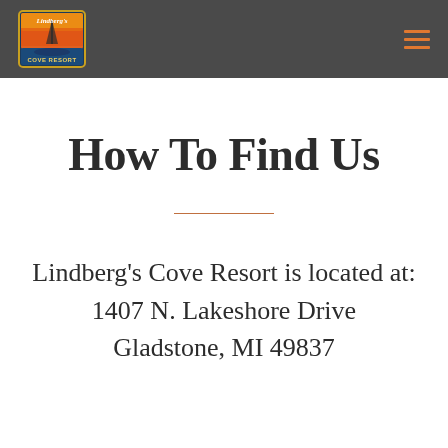Lindberg's Cove Resort — navigation header with logo and hamburger menu
How To Find Us
Lindberg's Cove Resort is located at:
1407 N. Lakeshore Drive
Gladstone, MI 49837